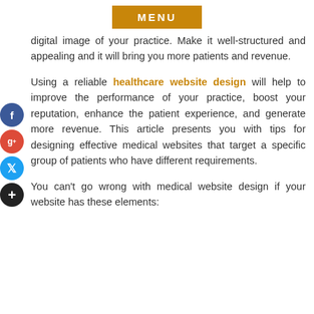[Figure (other): MENU button/navigation bar in orange-brown color]
digital image of your practice. Make it well-structured and appealing and it will bring you more patients and revenue.
Using a reliable healthcare website design will help to improve the performance of your practice, boost your reputation, enhance the patient experience, and generate more revenue. This article presents you with tips for designing effective medical websites that target a specific group of patients who have different requirements.
You can't go wrong with medical website design if your website has these elements: